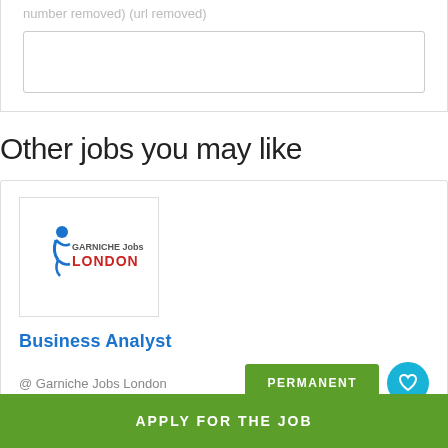number removed) (url removed)
Other jobs you may like
[Figure (logo): Garniche Jobs London company logo with a figure silhouette and red 'LONDON' text]
Business Analyst
@ Garniche Jobs London
PERMANENT
London
APPLY FOR THE JOB